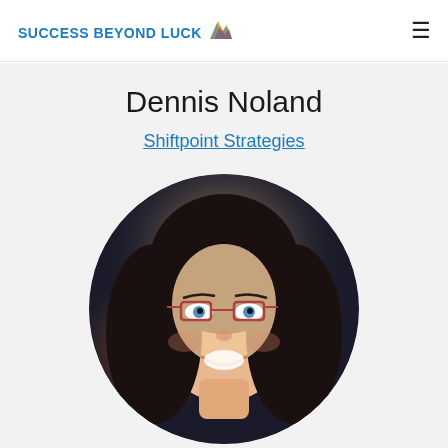SUCCESS BEYOND LUCK
Dennis Noland
Shiftpoint Strategies
[Figure (photo): Circular headshot photo of a woman with dark hair, red glasses, and a smiling expression, against a blurred dark background.]